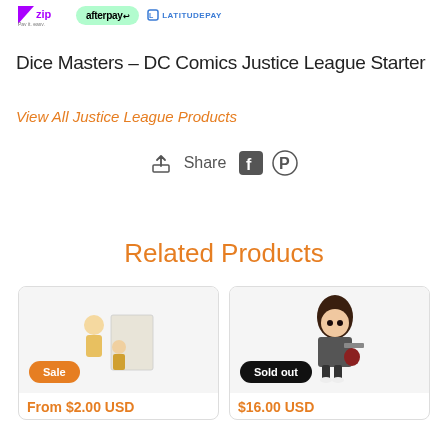[Figure (logo): Payment logos: Zip (Pay it. easy.), Afterpay, LatitudePay]
Dice Masters - DC Comics Justice League Starter
View All Justice League Products
[Figure (infographic): Share row with upload/share icon, Facebook icon, Pinterest icon]
Related Products
[Figure (photo): Product card: Funko Pop figures with Sale badge, price From $2.00 USD]
[Figure (photo): Product card: Funko Pop figure with Sold out badge, price $16.00 USD]